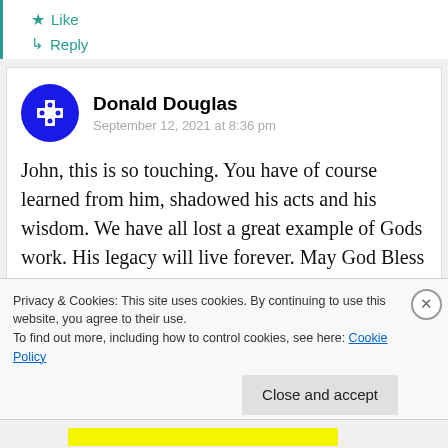★ Like
↳ Reply
Donald Douglas
September 12, 2021 at 8:36 pm
John, this is so touching. You have of course learned from him, shadowed his acts and his wisdom. We have all lost a great example of Gods work. His legacy will live forever. May God Bless you all.
Privacy & Cookies: This site uses cookies. By continuing to use this website, you agree to their use.
To find out more, including how to control cookies, see here: Cookie Policy
Close and accept